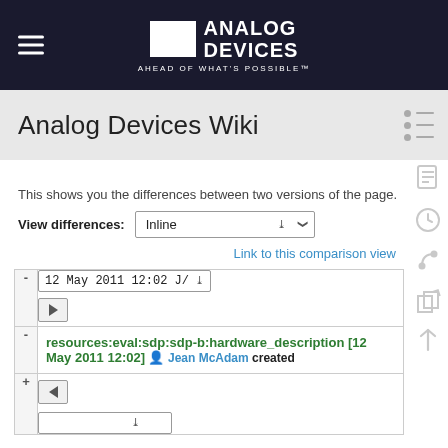Analog Devices — AHEAD OF WHAT'S POSSIBLE™
Analog Devices Wiki
This shows you the differences between two versions of the page.
View differences: Inline
Link to this comparison view
|  |  |
| --- | --- |
| - | 12 May 2011 12:02 J… ▾  ▶ |
| - | resources:eval:sdp:sdp-b:hardware_description [12 May 2011 12:02] 👤 Jean McAdam created |
| + | ◀  [dropdown] |